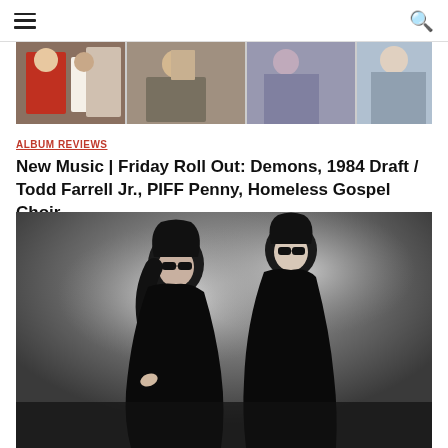Navigation bar with menu and search icons
[Figure (photo): Banner photo collage showing multiple people in various scenes, colorful clothing]
ALBUM REVIEWS
New Music | Friday Roll Out: Demons, 1984 Draft / Todd Farrell Jr., PIFF Penny, Homeless Gospel Choir
September 02, 2022
[Figure (photo): Black and white artistic photo of two figures dressed in all black with sunglasses against a blurred grey background]